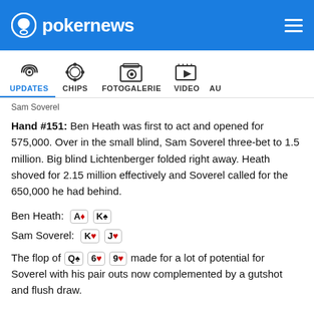pokernews
[Figure (screenshot): Navigation bar with icons for UPDATES (active, highlighted in blue), CHIPS, FOTOGALERIE, VIDEO, AU (partial)]
Sam Soverel
Hand #151: Ben Heath was first to act and opened for 575,000. Over in the small blind, Sam Soverel three-bet to 1.5 million. Big blind Lichtenberger folded right away. Heath shoved for 2.15 million effectively and Soverel called for the 650,000 he had behind.
Ben Heath: A♦ K♠
Sam Soverel: K♥ J♥
The flop of Q♠ 6♥ 9♥ made for a lot of potential for Soverel with his pair outs now complemented by a gutshot and flush draw.